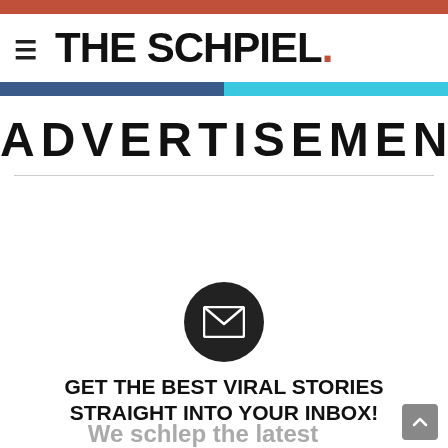THE SCHPIEL.
ADVERTISEMENTS
[Figure (illustration): Black circle icon with white envelope/mail symbol in center]
GET THE BEST VIRAL STORIES STRAIGHT INTO YOUR INBOX!
We schlep the latest